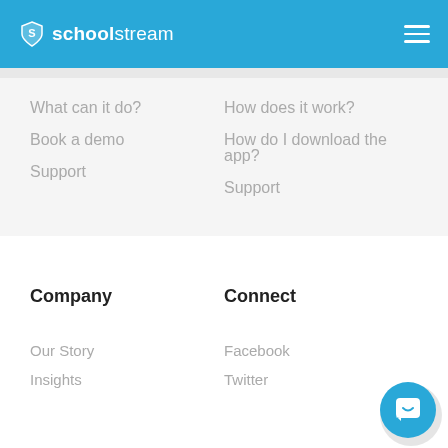schoolstream
What can it do?
Book a demo
Support
How does it work?
How do I download the app?
Support
Company
Connect
Our Story
Insights
Facebook
Twitter